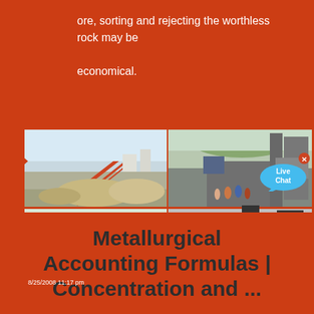ore, sorting and rejecting the worthless rock may be economical.
[Figure (photo): Four-panel image grid showing mining and crushing equipment: top-left shows ore sorting conveyor and stockpiles at a quarry; top-right shows workers near large industrial crushing/screening equipment with green hills in background; bottom-left shows a long inclined conveyor belt at a gravel processing site; bottom-right shows a mobile crushing plant on a truck.]
Metallurgical Accounting Formulas | Concentration and ...